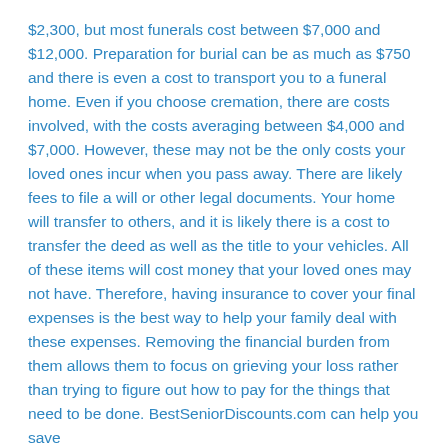$2,300, but most funerals cost between $7,000 and $12,000. Preparation for burial can be as much as $750 and there is even a cost to transport you to a funeral home. Even if you choose cremation, there are costs involved, with the costs averaging between $4,000 and $7,000. However, these may not be the only costs your loved ones incur when you pass away. There are likely fees to file a will or other legal documents. Your home will transfer to others, and it is likely there is a cost to transfer the deed as well as the title to your vehicles. All of these items will cost money that your loved ones may not have. Therefore, having insurance to cover your final expenses is the best way to help your family deal with these expenses. Removing the financial burden from them allows them to focus on grieving your loss rather than trying to figure out how to pay for the things that need to be done. BestSeniorDiscounts.com can help you save